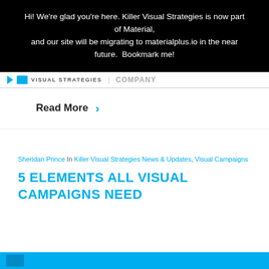Hi! We're glad you're here. Killer Visual Strategies is now part of Material, and our site will be migrating to materialplus.io in the near future.  Bookmark me!
VISUAL STRATEGIES | COMPANY
Read More ›
Sheridan Prince In Killer Visual Strategies News & Updates, Visual Campaigns
5 ELEMENTS ALL VISUAL CAMPAIGNS NEED
[Figure (illustration): Cyan/blue image bar at the bottom of the page]